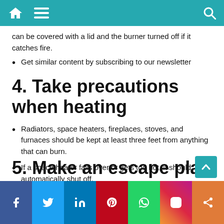Navigation bar with home, menu, and search icons
can be covered with a lid and the burner turned off if it catches fire.
Get similar content by subscribing to our newsletter
4. Take precautions when heating
Radiators, space heaters, fireplaces, stoves, and furnaces should be kept at least three feet from anything that can burn.
If a space heater falls over or gets too hot, it should automatically shut off.
If you are leaving the house or going to sleep, unplug heaters.
You should hire a professional to clean your chimney every year.
5. Make an escape plan
Social share bar: Facebook, Twitter, LinkedIn, Pinterest, WhatsApp, Instagram, Share